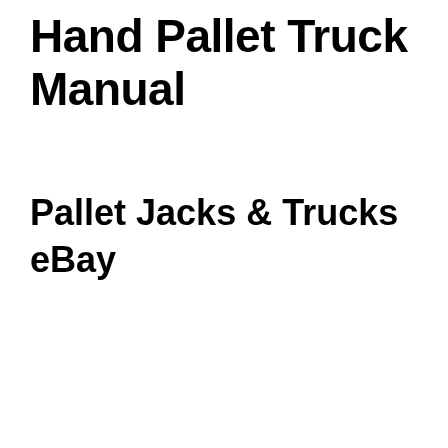Hand Pallet Truck Manual
Pallet Jacks & Trucks
eBay